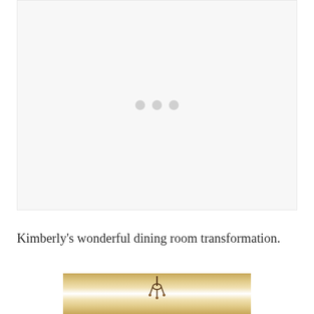[Figure (other): Large placeholder/loading area with three grey dots in the center, light grey background]
Kimberly's wonderful dining room transformation.
[Figure (photo): Partial photo of a dining room showing what appears to be a chandelier and ceiling/wall detail with warm golden tones]